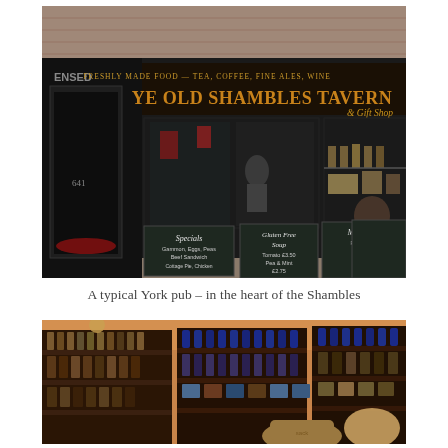[Figure (photo): Exterior of Ye Old Shambles Tavern & Gift Shop in York, showing a dark shopfront with gold lettering, blackboards advertising Specials, Gluten Free Soup, and Man Made items. Signs visible in windows.]
A typical York pub – in the heart of the Shambles
[Figure (photo): Interior of a shop or apothecary style store with dark wooden shelving filled with bottles, jars, and tins in various colors including blue bottles. A burlap sack is visible in the foreground.]